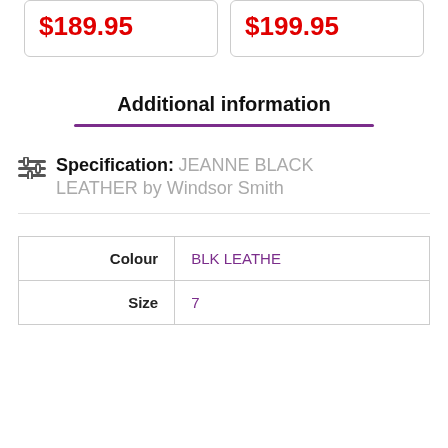$189.95
$199.95
Additional information
Specification: JEANNE BLACK LEATHER by Windsor Smith
|  |  |
| --- | --- |
| Colour | BLK LEATHE |
| Size | 7 |